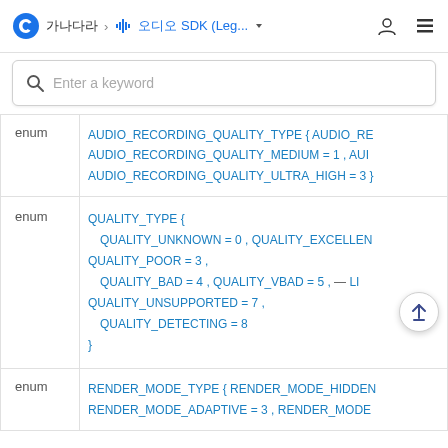SDK > audio SDK (Leg... ▼
Enter a keyword
|  |  |
| --- | --- |
| enum | AUDIO_RECORDING_QUALITY_TYPE { AUDIO_RE... AUDIO_RECORDING_QUALITY_MEDIUM = 1 , AUI... AUDIO_RECORDING_QUALITY_ULTRA_HIGH = 3 } |
| enum | QUALITY_TYPE { QUALITY_UNKNOWN = 0 , QUALITY_EXCELLEN... QUALITY_POOR = 3 , QUALITY_BAD = 4 , QUALITY_VBAD = 5 , LI... QUALITY_UNSUPPORTED = 7 , QUALITY_DETECTING = 8 } |
| enum | RENDER_MODE_TYPE { RENDER_MODE_HIDDEN... RENDER_MODE_ADAPTIVE = 3 , RENDER_MODE... |